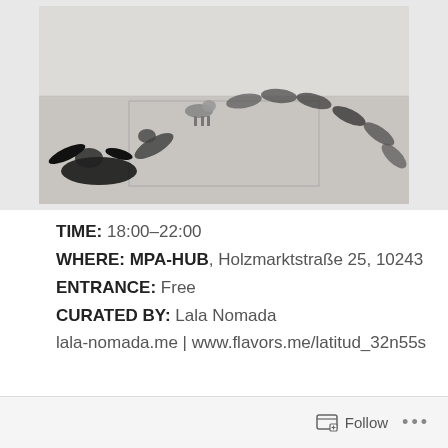[Figure (photo): Art installation photo showing people lying on a gray floor in a curved/arc formation inside a white gallery room. A dog is visible among the figures.]
TIME: 18:00–22:00
WHERE: MPA-HUB, Holzmarktstraße 25, 10243
ENTRANCE: Free
CURATED BY: Lala Nomada
lala-nomada.me | www.flavors.me/latitud_32n55s
Follow ...